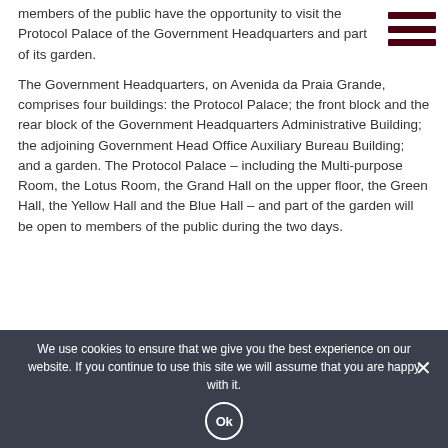members of the public have the opportunity to visit the Protocol Palace of the Government Headquarters and part of its garden.
The Government Headquarters, on Avenida da Praia Grande, comprises four buildings: the Protocol Palace; the front block and the rear block of the Government Headquarters Administrative Building; the adjoining Government Head Office Auxiliary Bureau Building; and a garden. The Protocol Palace – including the Multi-purpose Room, the Lotus Room, the Grand Hall on the upper floor, the Green Hall, the Yellow Hall and the Blue Hall – and part of the garden will be open to members of the public during the two days.
We use cookies to ensure that we give you the best experience on our website. If you continue to use this site we will assume that you are happy with it.